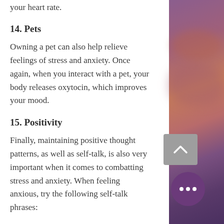your heart rate.
14. Pets
Owning a pet can also help relieve feelings of stress and anxiety. Once again, when you interact with a pet, your body releases oxytocin, which improves your mood.
15. Positivity
Finally, maintaining positive thought patterns, as well as self-talk, is also very important when it comes to combatting stress and anxiety. When feeling anxious, try the following self-talk phrases:
“This feeling will pass”